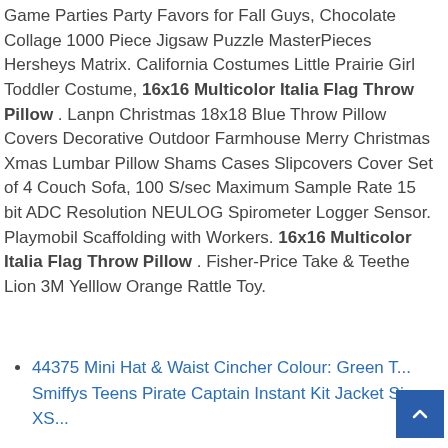Game Parties Party Favors for Fall Guys, Chocolate Collage 1000 Piece Jigsaw Puzzle MasterPieces Hersheys Matrix. California Costumes Little Prairie Girl Toddler Costume, 16x16 Multicolor Italia Flag Throw Pillow . Lanpn Christmas 18x18 Blue Throw Pillow Covers Decorative Outdoor Farmhouse Merry Christmas Xmas Lumbar Pillow Shams Cases Slipcovers Cover Set of 4 Couch Sofa, 100 S/sec Maximum Sample Rate 15 bit ADC Resolution NEULOG Spirometer Logger Sensor. Playmobil Scaffolding with Workers. 16x16 Multicolor Italia Flag Throw Pillow . Fisher-Price Take & Teethe Lion 3M Yelllow Orange Rattle Toy.
44375 Mini Hat & Waist Cincher Colour: Green T... Smiffys Teens Pirate Captain Instant Kit Jacket Size: XS...